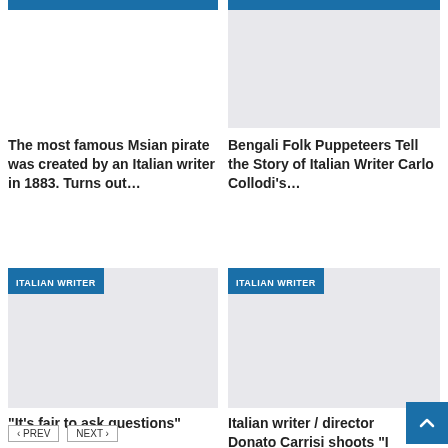[Figure (screenshot): Blue header bar for left article card, top]
[Figure (screenshot): Blue header bar and gray image placeholder for right article card, top]
The most famous Msian pirate was created by an Italian writer in 1883. Turns out…
Bengali Folk Puppeteers Tell the Story of Italian Writer Carlo Collodi's…
[Figure (screenshot): Gray image placeholder with ITALIAN WRITER badge for left bottom article card]
[Figure (screenshot): Gray image placeholder with ITALIAN WRITER badge for right bottom article card]
“It’s fair to ask questions”
Italian writer / director Donato Carrisi shoots “I Am the Abyss”
‹ PREV   NEXT ›